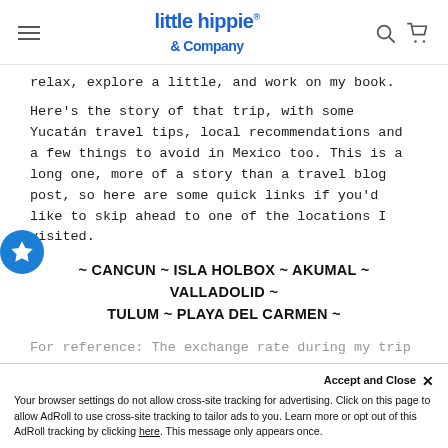little hippie & Company [logo with hamburger menu and search/cart icons]
relax, explore a little, and work on my book.
Here's the story of that trip, with some Yucatán travel tips, local recommendations and a few things to avoid in Mexico too. This is a long one, more of a story than a travel blog post, so here are some quick links if you'd like to skip ahead to one of the locations I visited.
~ CANCUN ~ ISLA HOLBOX ~ AKUMAL ~ VALLADOLID ~ TULUM ~ PLAYA DEL CARMEN ~
For reference: The exchange rate during my trip was
Accept and Close ×
Your browser settings do not allow cross-site tracking for advertising. Click on this page to allow AdRoll to use cross-site tracking to tailor ads to you. Learn more or opt out of this AdRoll tracking by clicking here. This message only appears once.